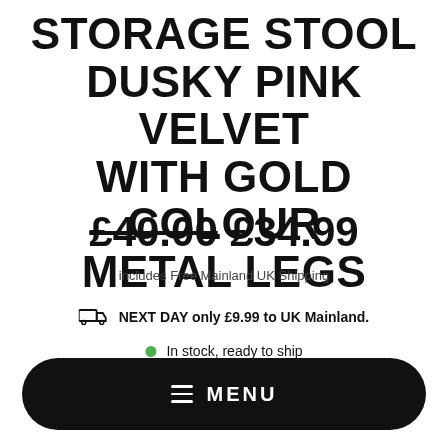STORAGE STOOL DUSKY PINK VELVET WITH GOLD COLOUR METAL LEGS
£40.00 £34.99
includes Free Mainland UK Shipping
NEXT DAY only £9.99 to UK Mainland.
In stock, ready to ship
MENU